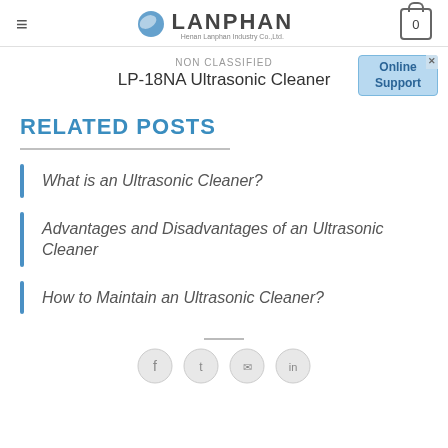LANPHAN
NON CLASSIFIED
LP-18NA Ultrasonic Cleaner
RELATED POSTS
What is an Ultrasonic Cleaner?
Advantages and Disadvantages of an Ultrasonic Cleaner
How to Maintain an Ultrasonic Cleaner?